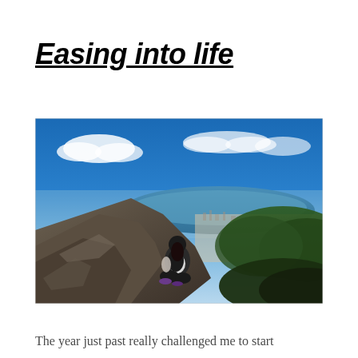Easing into life
[Figure (photo): A person sitting on a rocky mountain summit overlooking a vast city and estuary below, with a vivid blue sky and scattered clouds above. The scene appears to be taken from a high elevation, possibly Mount Wellington in Hobart, Tasmania.]
The year just past really challenged me to start